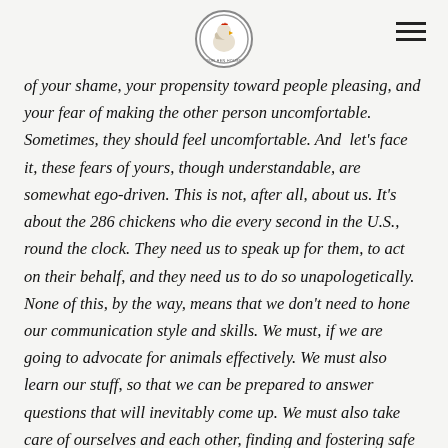[Logo: Our Hen House]
of your shame, your propensity toward people pleasing, and your fear of making the other person uncomfortable. Sometimes, they should feel uncomfortable. And let’s face it, these fears of yours, though understandable, are somewhat ego-driven. This is not, after all, about us. It’s about the 286 chickens who die every second in the U.S., round the clock. They need us to speak up for them, to act on their behalf, and they need us to do so unapologetically. None of this, by the way, means that we don’t need to hone our communication style and skills. We must, if we are going to advocate for animals effectively. We must also learn our stuff, so that we can be prepared to answer questions that will inevitably come up. We must also take care of ourselves and each other, finding and fostering safe spaces in our lives,